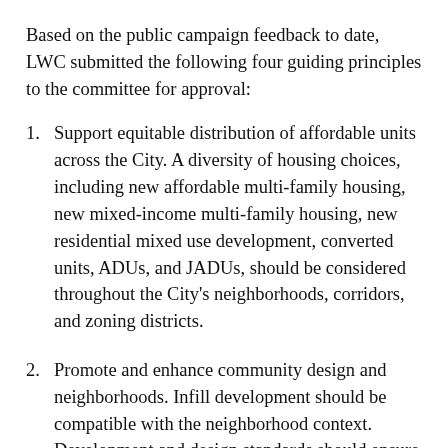Based on the public campaign feedback to date, LWC submitted the following four guiding principles to the committee for approval:
Support equitable distribution of affordable units across the City. A diversity of housing choices, including new affordable multi-family housing, new mixed-income multi-family housing, new residential mixed use development, converted units, ADUs, and JADUs, should be considered throughout the City's neighborhoods, corridors, and zoning districts.
Promote and enhance community design and neighborhoods. Infill development should be compatible with the neighborhood context. Development and design standards should ensure that new construction “fits in” in terms of building scale, placement, and design; and is sensitive to impacts on the neighborhood, including impacts...